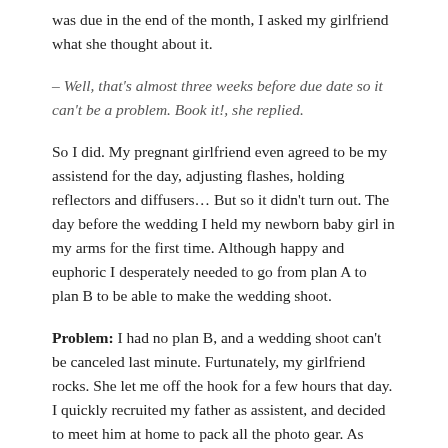was due in the end of the month, I asked my girlfriend what she thought about it.
– Well, that's almost three weeks before due date so it can't be a problem. Book it!, she replied.
So I did. My pregnant girlfriend even agreed to be my assistend for the day, adjusting flashes, holding reflectors and diffusers… But so it didn't turn out. The day before the wedding I held my newborn baby girl in my arms for the first time. Although happy and euphoric I desperately needed to go from plan A to plan B to be able to make the wedding shoot.
Problem: I had no plan B, and a wedding shoot can't be canceled last minute. Furtunately, my girlfriend rocks. She let me off the hook for a few hours that day. I quickly recruited my father as assistent, and decided to meet him at home to pack all the photo gear. As soon as I got out of the car at the parking lot back home I realized that I left my home keys at the hospital. F@#@#ck. Back to the